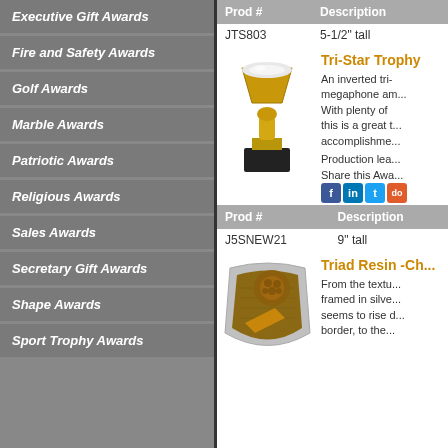Executive Gift Awards
Fire and Safety Awards
Golf Awards
Marble Awards
Patriotic Awards
Religious Awards
Sales Awards
Secretary Gift Awards
Shape Awards
Sport Trophy Awards
| Prod # | Description |
| --- | --- |
| JTS803 | 5-1/2" tall |
[Figure (photo): Tri-Star Trophy product photo showing gold trophy with inverted megaphone top on black base]
Tri-Star Trophy
An inverted tri-star megaphone and... With plenty of... this is a great t... accomplishme...
Production lea...
Share this Awa...
| Prod # | Description |
| --- | --- |
| J5SNEW21 | 9" tall |
[Figure (photo): Triad Resin cheerleading award showing pom pom and megaphone on textured background framed in silver]
Triad Resin -Ch...
From the textu... framed in silve... seems to rise d... border, to the...